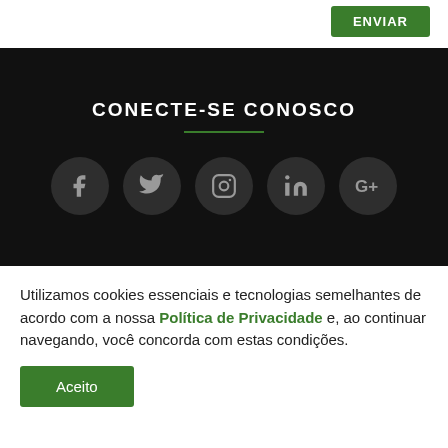[Figure (other): Green ENVIAR button in top right corner]
CONECTE-SE CONOSCO
[Figure (other): Social media icons row: Facebook, Twitter, Instagram, LinkedIn, Google+ on dark background]
Utilizamos cookies essenciais e tecnologias semelhantes de acordo com a nossa Política de Privacidade e, ao continuar navegando, você concorda com estas condições.
[Figure (other): Green Aceito (Accept) button]